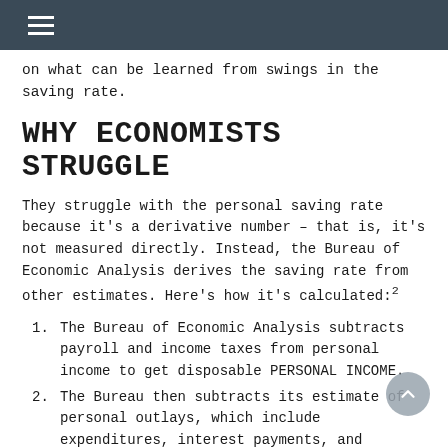on what can be learned from swings in the saving rate.
WHY ECONOMISTS STRUGGLE
They struggle with the personal saving rate because it's a derivative number – that is, it's not measured directly. Instead, the Bureau of Economic Analysis derives the saving rate from other estimates. Here's how it's calculated:²
The Bureau of Economic Analysis subtracts payroll and income taxes from personal income to get disposable PERSONAL INCOME.
The Bureau then subtracts its estimate of personal outlays, which include expenditures, interest payments, and payments, from disposable personal income to get